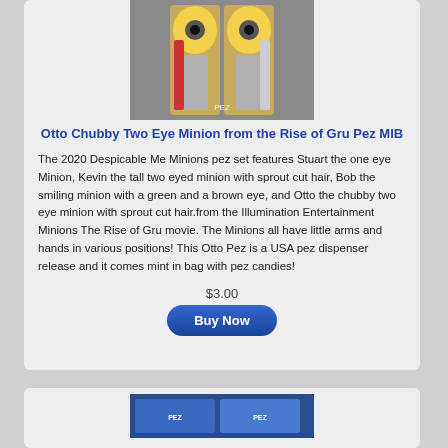[Figure (photo): Photo of Otto Chubby Two Eye Minion Pez dispenser set in packaging showing two Minion characters]
Otto Chubby Two Eye Minion from the Rise of Gru Pez MIB
The 2020 Despicable Me Minions pez set features Stuart the one eye Minion, Kevin the tall two eyed minion with sprout cut hair, Bob the smiling minion with a green and a brown eye, and Otto the chubby two eye minion with sprout cut hair.from the Illumination Entertainment Minions The Rise of Gru movie. The Minions all have little arms and hands in various positions! This Otto Pez is a USA pez dispenser release and it comes mint in bag with pez candies!
$3.00
[Figure (photo): Partial photo of another Pez product at the bottom of the page]